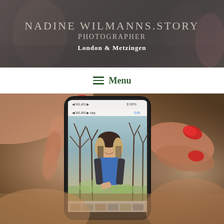NADINE WILMANNS.STORY
PHOTOGRAPHER
London & Metzingen
☰ Menu
[Figure (photo): Hand holding a smartphone displaying a photo of a young woman standing outdoors among trees. The photo inside the phone shows her smiling, wearing a blue top and dark jacket. Red-painted fingernails are visible gripping the phone. The background is blurred brown/warm tones.]